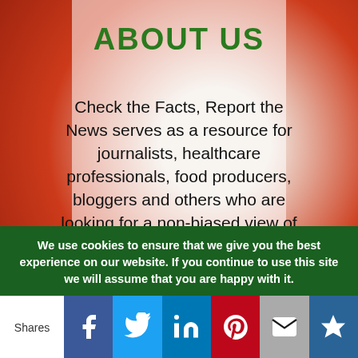ABOUT US
Check the Facts, Report the News serves as a resource for journalists, healthcare professionals, food producers, bloggers and others who are looking for a non-biased view of palm oil. All information is fact-checked by third parties. All sources are cited. Check the Facts
We use cookies to ensure that we give you the best experience on our website. If you continue to use this site we will assume that you are happy with it.
Shares